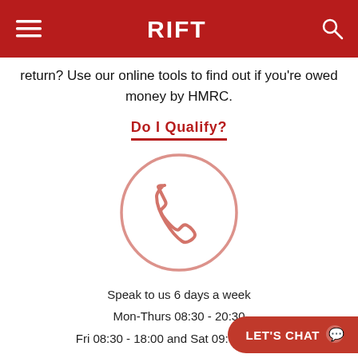RIFT
return? Use our online tools to find out if you're owed money by HMRC.
Do I Qualify?
[Figure (illustration): A phone/telephone handset icon inside a circle outline, drawn in a light red/pink color.]
Speak to us 6 days a week
Mon-Thurs 08:30 - 20:30
Fri 08:30 - 18:00 and Sat 09:00 - 13:00